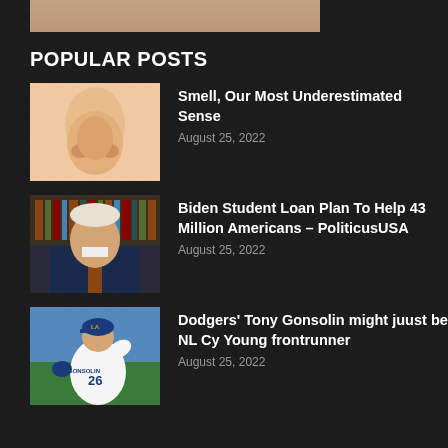[Figure (photo): Partial top image, cropped person]
POPULAR POSTS
[Figure (photo): Close-up of a human nose (smell article thumbnail)]
Smell, Our Most Underestimated Sense
August 25, 2022
[Figure (photo): Photo of President Biden speaking, bookshelves in background]
Biden Student Loan Plan To Help 43 Million Americans – PoliticusUSA
August 25, 2022
[Figure (photo): Dodgers pitcher Tony Gonsolin #26 in pitching stance, wearing white Dodgers uniform]
Dodgers’ Tony Gonsolin might juust be NL Cy Young frontrunner
August 25, 2022